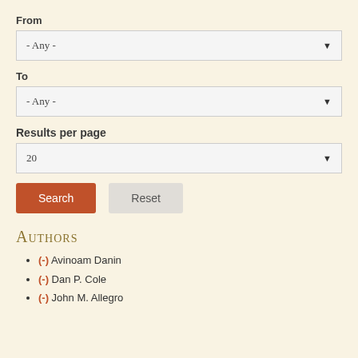From
[Figure (screenshot): Dropdown select box showing '- Any -' for From field]
To
[Figure (screenshot): Dropdown select box showing '- Any -' for To field]
Results per page
[Figure (screenshot): Dropdown select box showing '20' for Results per page field]
[Figure (screenshot): Search and Reset buttons]
Authors
(-) Avinoam Danin
(-) Dan P. Cole
(-) John M. Allegro